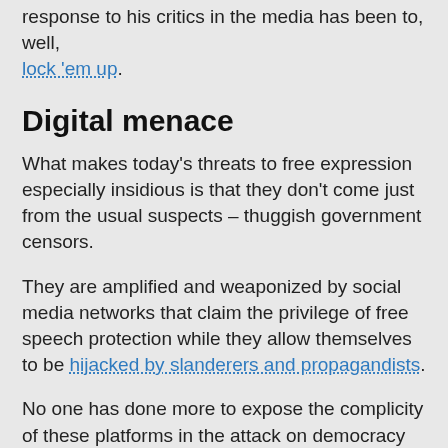response to his critics in the media has been to, well, lock 'em up.
Digital menace
What makes today's threats to free expression especially insidious is that they don't come just from the usual suspects – thuggish government censors.
They are amplified and weaponized by social media networks that claim the privilege of free speech protection while they allow themselves to be hijacked by slanderers and propagandists.
No one has done more to expose the complicity of these platforms in the attack on democracy than Ressa, a tech enthusiast who built her publication's website to interface with Facebook and now accuses the company of endangering her own freedom with